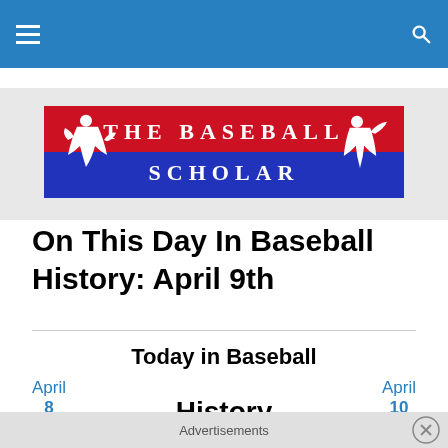Navigation bar with hamburger menu and search icon
[Figure (logo): The Baseball Scholar logo banner — red top half with white pitcher silhouette and blue bottom half with white batter silhouette, text reads THE BASEBALL SCHOLAR]
On This Day In Baseball History: April 9th
Today in Baseball
April 8 | History | April 10
April 9
Advertisements